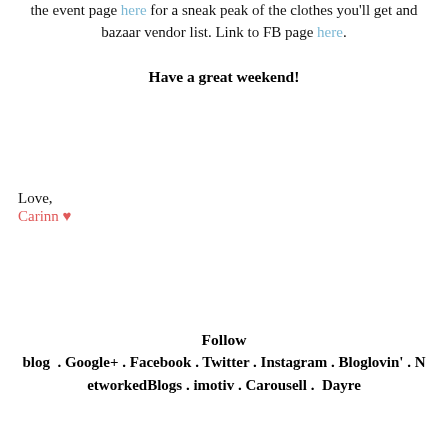the event page here for a sneak peak of the clothes you'll get and bazaar vendor list. Link to FB page here.
Have a great weekend!
Love,
Carinn ♥
Follow
blog . Google+ . Facebook . Twitter . Instagram . Bloglovin' . NetworkedBlogs . imotiv . Carousell . Dayre